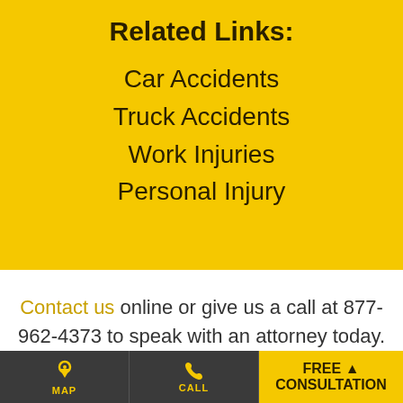Related Links:
Car Accidents
Truck Accidents
Work Injuries
Personal Injury
Contact us online or give us a call at 877-962-4373 to speak with an attorney today.
MAP  CALL  FREE CONSULTATION